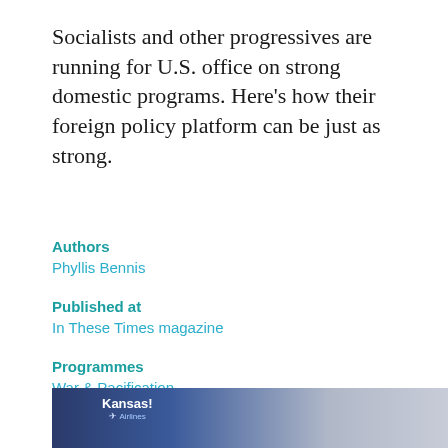Socialists and other progressives are running for U.S. office on strong domestic programs. Here’s how their foreign policy platform can be just as strong.
Authors
Phyllis Bennis
Published at
In These Times magazine
Programmes
War & Pacification
[Figure (photo): Photo of a person holding a sign that says 'Kansas' with a logo below it, on a blue background, partially cut off at the bottom of the page.]